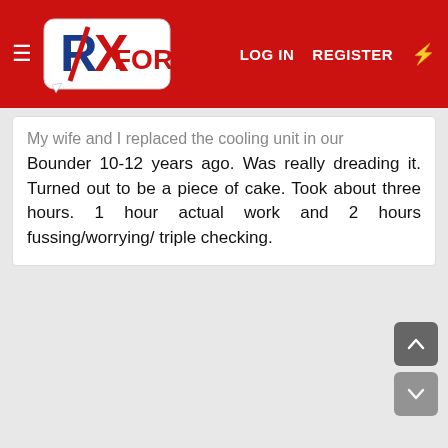RX FORUM | LOG IN | REGISTER
My wife and I replaced the cooling unit in our Bounder 10-12 years ago. Was really dreading it. Turned out to be a piece of cake. Took about three hours. 1 hour actual work and 2 hours fussing/worrying/ triple checking.